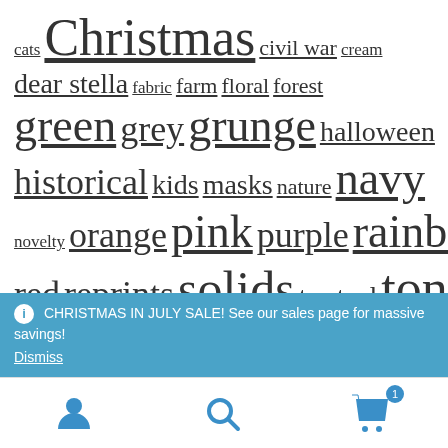cats Christmas civil war cream dear stella fabric farm floral forest green grey grunge halloween historical kids masks nature navy novelty orange pink purple rainbow red reprints solids tan teal tonal tone on tone vintage white wood yellow
CHRISTMAS IN JULY SALE! See our sales page for massive savings!
Dismiss